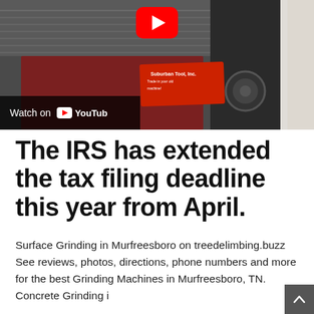[Figure (screenshot): YouTube video thumbnail showing industrial surface grinding machine with red Suburban Tool Inc. label. Shows 'Watch on YouTube' bar at bottom left with YouTube play button icon.]
The IRS has extended the tax filing deadline this year from April.
Surface Grinding in Murfreesboro on treedelimbing.buzz See reviews, photos, directions, phone numbers and more for the best Grinding Machines in Murfreesboro, TN. Concrete Grinding i